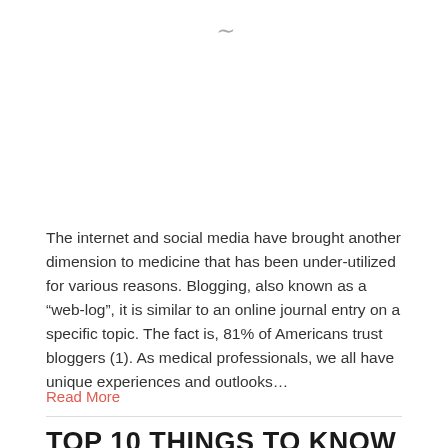[Figure (other): Decorative tilde/squiggle symbol in gray]
The internet and social media have brought another dimension to medicine that has been under-utilized for various reasons. Blogging, also known as a “web-log”, it is similar to an online journal entry on a specific topic. The fact is, 81% of Americans trust bloggers (1). As medical professionals, we all have unique experiences and outlooks…
Read More
TOP 10 THINGS TO KNOW WHEN